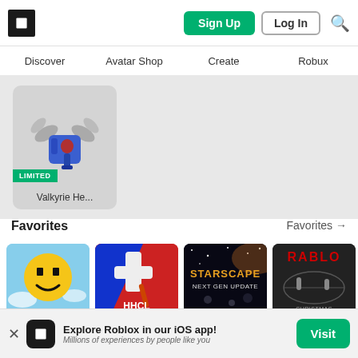Roblox header with Sign Up, Log In buttons and search icon
Discover  Avatar Shop  Create  Robux
[Figure (screenshot): Roblox Avatar Shop item: Valkyrie He... with LIMITED badge]
Favorites
Favorites →
[Figure (screenshot): Game thumbnail: Super Nostalgia Zone - yellow Roblox face on sky background. 92% thumbs up, 17 players]
[Figure (screenshot): Game thumbnail: HHCL Lobby - hockey cross logo red/blue. 80% thumbs up, 0 players]
[Figure (screenshot): Game thumbnail: Starscape [Beta] - NEXT GEN UPDATE space scene. 93% thumbs up, 130 players]
[Figure (screenshot): Game thumbnail: Roblox Hockey Manager - RABLO text, hockey players. 84% thumbs up, 0 players]
Explore Roblox in our iOS app! Millions of experiences by people like you
Visit